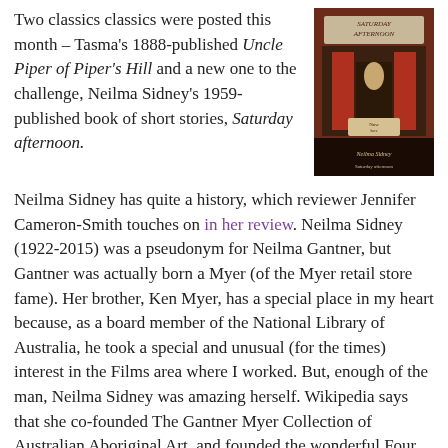Two classics classics were posted this month – Tasma's 1888-published Uncle Piper of Piper's Hill and a new one to the challenge, Neilma Sidney's 1959-published book of short stories, Saturday afternoon.
[Figure (photo): Book cover of 'Saturday Afternoon' showing illustrated figures and store-front imagery in red and dark tones]
Neilma Sidney has quite a history, which reviewer Jennifer Cameron-Smith touches on in her review. Neilma Sidney (1922-2015) was a pseudonym for Neilma Gantner, but Gantner was actually born a Myer (of the Myer retail store fame). Her brother, Ken Myer, has a special place in my heart because, as a board member of the National Library of Australia, he took a special and unusual (for the times) interest in the Films area where I worked. But, enough of the man, Neilma Sidney was amazing herself. Wikipedia says that she co-founded The Gantner Myer Collection of Australian Aboriginal Art, and founded the wonderful Four Winds Cultural Festival (in Bermagui, NSW). Also, as Jennifer